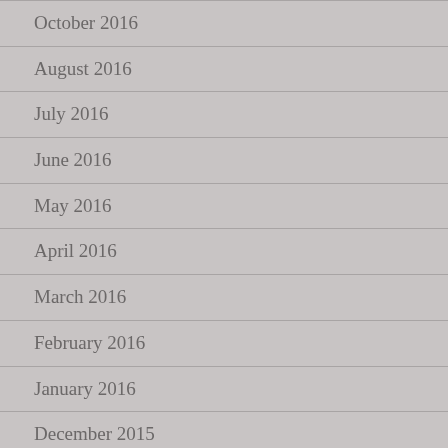October 2016
August 2016
July 2016
June 2016
May 2016
April 2016
March 2016
February 2016
January 2016
December 2015